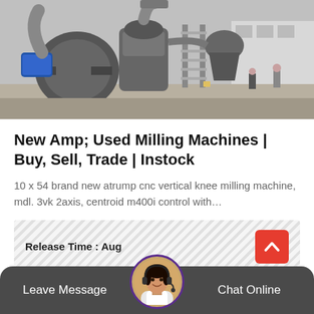[Figure (photo): Industrial milling machines and equipment in a factory yard, with large metal machinery, pipes, ducts, staircase, and workers visible outdoors]
New Amp; Used Milling Machines | Buy, Sell, Trade | Instock
10 x 54 brand new atrump cnc vertical knee milling machine, mdl. 3vk 2axis, centroid m400i control with…
Release Time : Aug
Leave Message  Chat Online